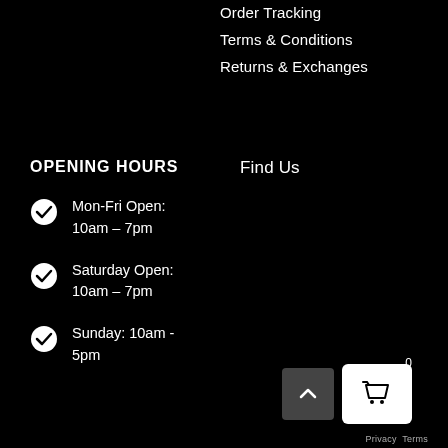Order Tracking
Terms & Conditions
Returns & Exchanges
OPENING HOURS
Find Us
Mon-Fri Open: 10am – 7pm
Saturday Open: 10am – 7pm
Sunday: 10am - 5pm
[Figure (screenshot): Scroll-to-top button (dark grey rounded rectangle with upward chevron) and shopping cart button (white rounded rectangle with basket icon), cart badge showing 0]
Privacy Terms